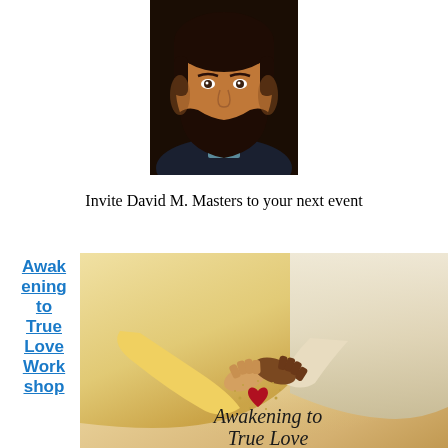[Figure (photo): Headshot photo of David M. Masters, a man with brown hair and beard, smiling, wearing a dark suit with a blue-green collar/tie, against a dark background.]
Invite David M. Masters to your next event
Awakening to True Love Workshop
[Figure (photo): Book cover image showing two people holding hands with a red heart and sparkles, with the text 'Awakening to True Love' in italic script at the bottom.]